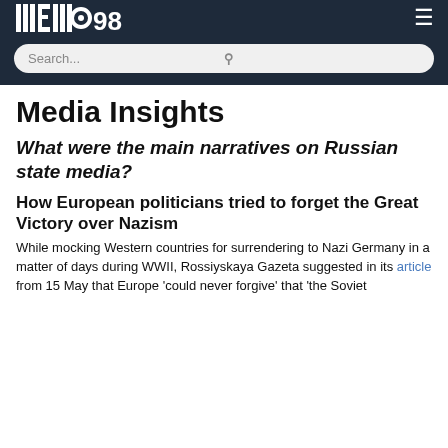MEMO98 [logo]
Media Insights
What were the main narratives on Russian state media?
How European politicians tried to forget the Great Victory over Nazism
While mocking Western countries for surrendering to Nazi Germany in a matter of days during WWII, Rossiyskaya Gazeta suggested in its article from 15 May that Europe 'could never forgive' that 'the Soviet